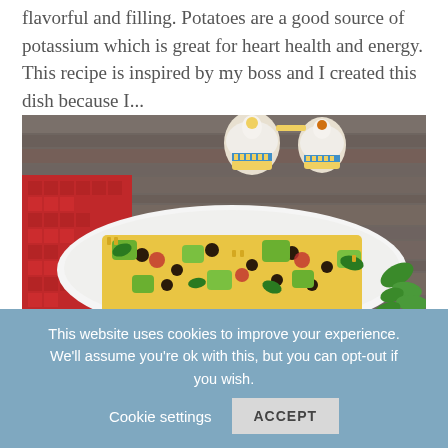flavorful and filling. Potatoes are a good source of potassium which is great for heart health and energy. This recipe is inspired by my boss and I created this dish because I...
[Figure (photo): Overhead photo of a white oval dish filled with corn, black bean, avocado, and tomato salad, placed on a red checkered cloth on a wooden table, with decorative ceramic salt and pepper shakers in the background.]
This website uses cookies to improve your experience. We'll assume you're ok with this, but you can opt-out if you wish.
Cookie settings
ACCEPT